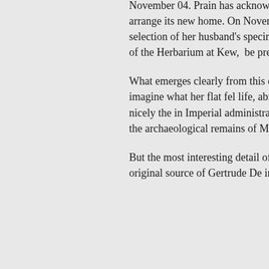November 04. Prain has acknowledged her letter and suggests dates when she might visit Kew to arrange its new home. On November 22 final arrangements at Prain's house and a viewing, at some point, of a selection of her husband's specimens, now housed at Kew. The seventh letter is an internal memo from Stapf, Keeper of the Herbarium at Kew, about a book to be presented to Lady Deane when she calls.
What emerges clearly from this correspondence is delight that something can be done with the collection. It is easy enough to imagine what her flat feelings must have been: a life, abruptly curtailed, in Peshawar. For Lady Deane, his botanical interests illustrate nicely the intersection of an Imperial administrator's engagement with nature, and his intense concern for the botany of the NW Frontier, and the archaeological remains of Malakand and beyond.
But the most interesting detail of the correspondence is obliquely to do with Sir Harold Deane. The collection starts, the original source of Gertrude De was, as indicated in the first letter to Prain on Oc